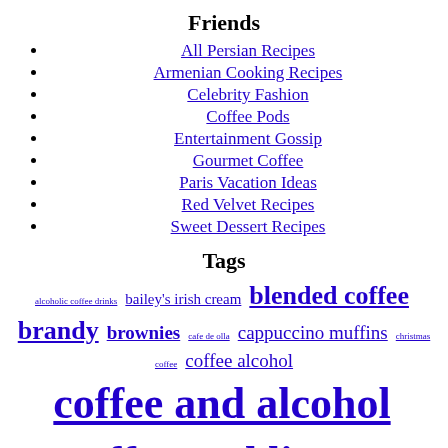Friends
All Persian Recipes
Armenian Cooking Recipes
Celebrity Fashion
Coffee Pods
Entertainment Gossip
Gourmet Coffee
Paris Vacation Ideas
Red Velvet Recipes
Sweet Dessert Recipes
Tags
alcoholic coffee drinks bailey's irish cream blended coffee brandy brownies cafe de olla cappuccino muffins christmas coffee coffee alcohol coffee and alcohol coffee and liquor coffee and rum coffee gifts Coffee Liquor Coffee Malt Coffee Milkshake coffee with chicory cold coffee Cold Coffee Drinks cooking with coffee creole coffee Espresso espresso brownies gingerbread latte holiday coffee holiday drinks hot coffee hot coffee